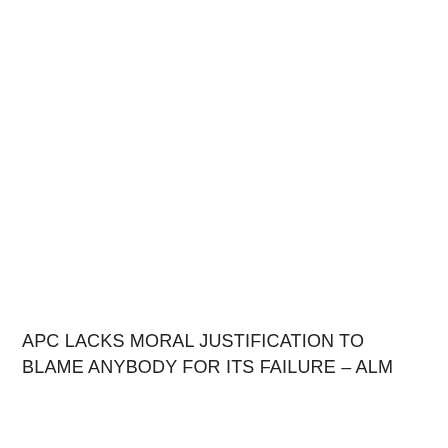APC LACKS MORAL JUSTIFICATION TO BLAME ANYBODY FOR ITS FAILURE – ALM